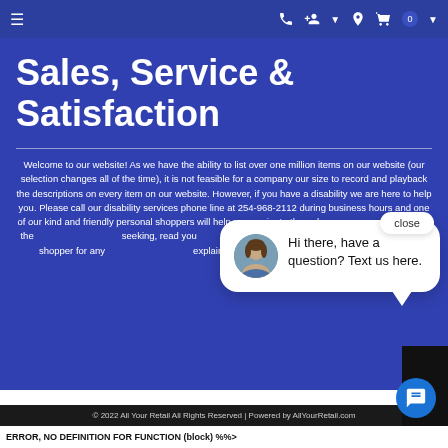≡  [phone] [person+] [location] [cart] 0
Sales, Service & Satisfaction
Welcome to our website! As we have the ability to list over one million items on our website (our selection changes all of the time), it is not feasible for a company our size to record and playback the descriptions on every item on our website. However, if you have a disability we are here to help you. Please call our disability services phone line at 254-968-2112 during business hours and one of our kind and friendly personal shoppers will help you navigate through our website, help conduct advanced searches, help you choose the item you are looking for with the specifications you are seeking, read you the specifications of any item and consult with you about the products themselves. There is no charge for the help of this personal shopper for any American with a disability. Finally, your personal shopper will explain our Privacy Policy and Terms of Service, and help you place an order if you so desire.
[Figure (screenshot): Chat popup with avatar photo of a woman and message: Hi there, have a question? Text us here. Close button at top right. Blue chat FAB button at bottom right.]
© 2022 All Your Retail All Rights Reserved | Powered by AllYourRetail.com
ERROR, NO DEFINITION FOR FUNCTION (block) %%>